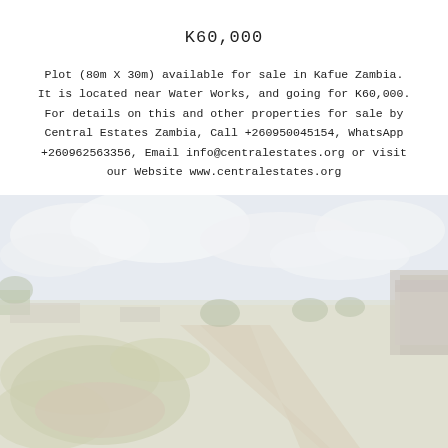K60,000
Plot (80m X 30m) available for sale in Kafue Zambia. It is located near Water Works, and going for K60,000. For details on this and other properties for sale by Central Estates Zambia, Call +260950045154, WhatsApp +260962563356, Email info@centralestates.org or visit our Website www.centralestates.org
[Figure (photo): Outdoor photo of a vacant land plot in Kafue, Zambia, showing a dirt road, overgrown grass, scattered trees, cloudy sky, and a building in the right background. Image has a washed-out, light tone.]